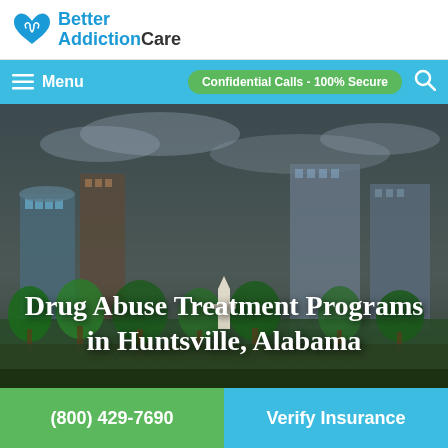Better AddictionCare
Menu | Confidential Calls - 100% Secure
[Figure (photo): Aerial/ground view of Huntsville, Alabama cityscape with buildings, trees, and cloudy sky. Dark overlay applied.]
Drug Abuse Treatment Programs in Huntsville, Alabama
(800) 429-7690
Verify Insurance